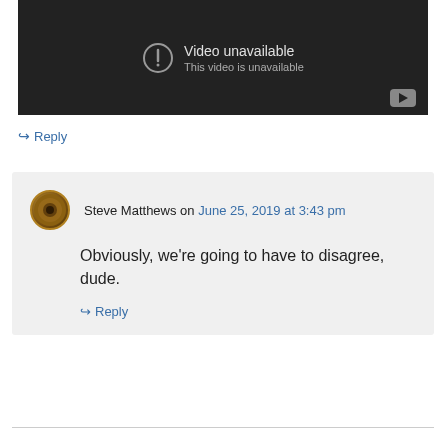[Figure (screenshot): Video unavailable placeholder — dark background showing exclamation circle icon, text 'Video unavailable / This video is unavailable', and a YouTube play button icon in the bottom-right corner]
↪ Reply
Steve Matthews on June 25, 2019 at 3:43 pm
Obviously, we're going to have to disagree, dude.
↪ Reply